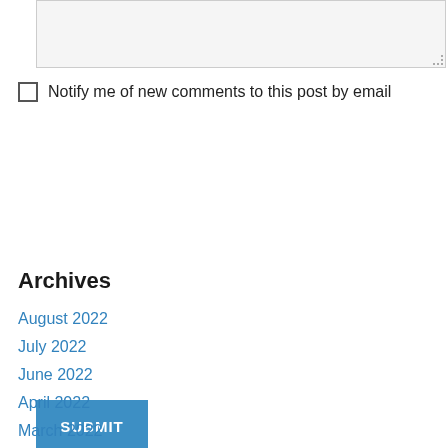[Figure (screenshot): Empty textarea input field with light gray background and resize handle in bottom right corner]
Notify me of new comments to this post by email
[Figure (screenshot): Blue SUBMIT button]
Archives
August 2022
July 2022
June 2022
April 2022
March 2022
January 2022
December 2021
November 2021
October 2021